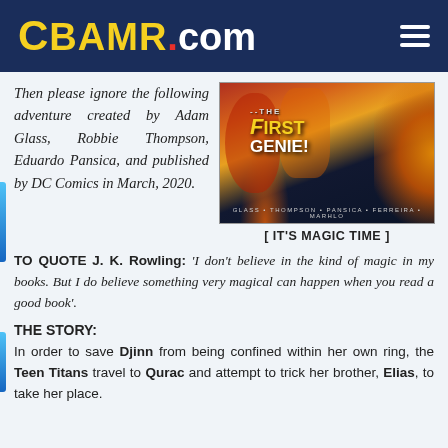CBAMR.COM
Then please ignore the following adventure created by Adam Glass, Robbie Thompson, Eduardo Pansica, and published by DC Comics in March, 2020.
[Figure (illustration): Comic book cover for 'The First Genie!' featuring superhero characters with fire and action elements. Credits: Glass, Thompson, Pansica, Ferreira, Marhlo.]
[ IT'S MAGIC TIME ]
TO QUOTE J. K. Rowling: 'I don't believe in the kind of magic in my books. But I do believe something very magical can happen when you read a good book'.
THE STORY:
In order to save Djinn from being confined within her own ring, the Teen Titans travel to Qurac and attempt to trick her brother, Elias, to take her place.